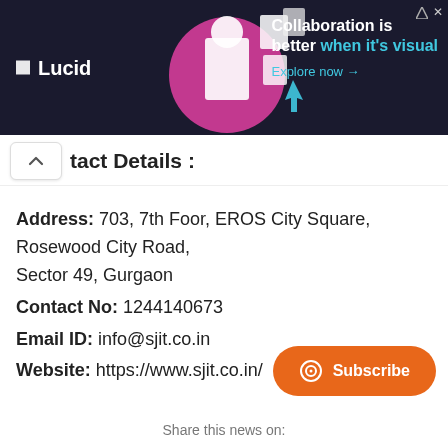[Figure (screenshot): Lucid advertisement banner with dark background showing 'Collaboration is better when it's visual. Explore now →']
Contact Details :
Address: 703, 7th Foor, EROS City Square, Rosewood City Road, Sector 49, Gurgaon
Contact No: 1244140673
Email ID: info@sjit.co.in
Website: https://www.sjit.co.in/
Share this news on: